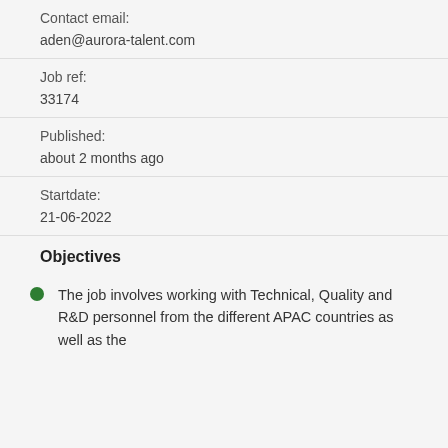Contact email:
aden@aurora-talent.com
Job ref:
33174
Published:
about 2 months ago
Startdate:
21-06-2022
Objectives
The job involves working with Technical, Quality and R&D personnel from the different APAC countries as well as the